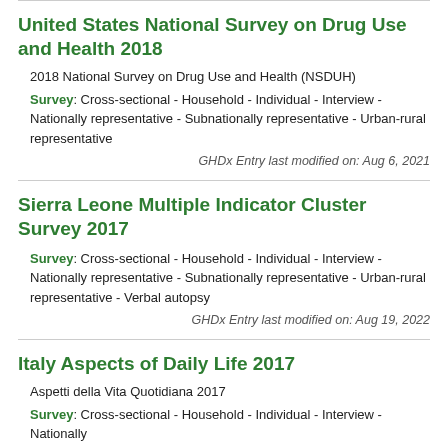United States National Survey on Drug Use and Health 2018
2018 National Survey on Drug Use and Health (NSDUH)
Survey: Cross-sectional - Household - Individual - Interview - Nationally representative - Subnationally representative - Urban-rural representative
GHDx Entry last modified on: Aug 6, 2021
Sierra Leone Multiple Indicator Cluster Survey 2017
Survey: Cross-sectional - Household - Individual - Interview - Nationally representative - Subnationally representative - Urban-rural representative - Verbal autopsy
GHDx Entry last modified on: Aug 19, 2022
Italy Aspects of Daily Life 2017
Aspetti della Vita Quotidiana 2017
Survey: Cross-sectional - Household - Individual - Interview - Nationally